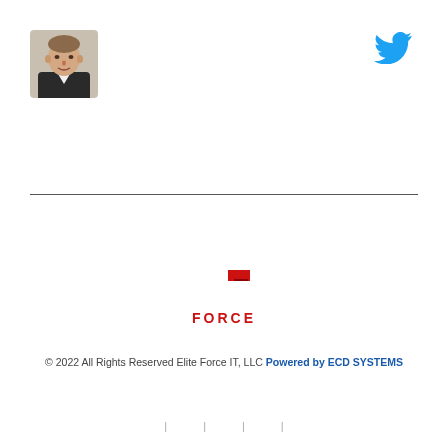[Figure (photo): Profile photo of a middle-aged man in a dark suit, headshot style]
[Figure (logo): Twitter bird icon in blue]
[Figure (logo): G-Force logo in red — a stylized crescent/G shape with a square notch and the word FORCE below]
© 2022 All Rights Reserved Elite Force IT, LLC Powered by ECD SYSTEMS
| | | |